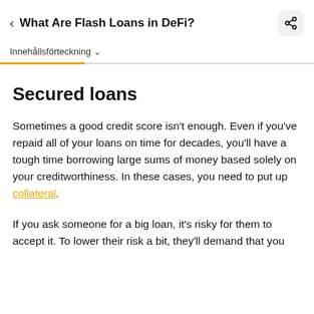What Are Flash Loans in DeFi?
Innehållsförteckning
Secured loans
Sometimes a good credit score isn't enough. Even if you've repaid all of your loans on time for decades, you'll have a tough time borrowing large sums of money based solely on your creditworthiness. In these cases, you need to put up collateral.
If you ask someone for a big loan, it's risky for them to accept it. To lower their risk a bit, they'll demand that you